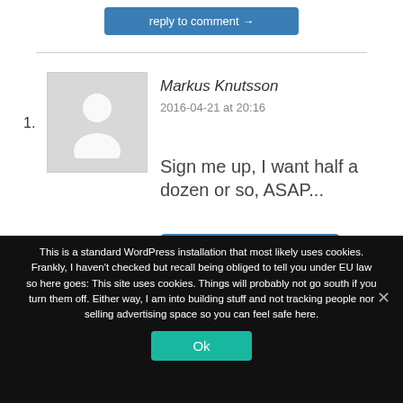reply to comment →
[Figure (photo): Generic user avatar placeholder: grey square with white silhouette of a person]
Markus Knutsson
2016-04-21 at 20:16
Sign me up, I want half a dozen or so, ASAP...
reply to comment →
This is a standard WordPress installation that most likely uses cookies. Frankly, I haven't checked but recall being obliged to tell you under EU law so here goes: This site uses cookies. Things will probably not go south if you turn them off. Either way, I am into building stuff and not tracking people nor selling advertising space so you can feel safe here.
Ok